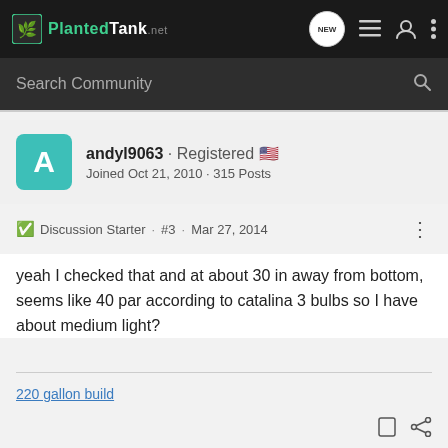Planted Tank · NEW · (nav icons)
Search Community
andyl9063 · Registered 🇺🇸
Joined Oct 21, 2010 · 315 Posts
Discussion Starter · #3 · Mar 27, 2014
yeah I checked that and at about 30 in away from bottom, seems like 40 par according to catalina 3 bulbs so I have about medium light?
220 gallon build